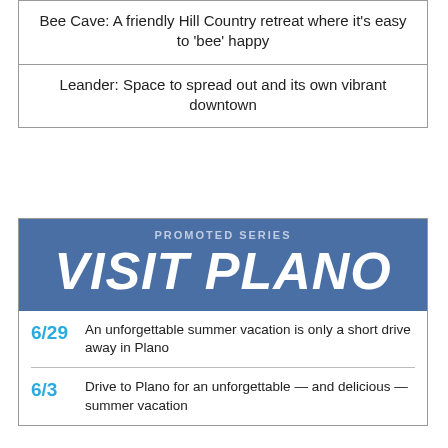Bee Cave: A friendly Hill Country retreat where it's easy to 'bee' happy
Leander: Space to spread out and its own vibrant downtown
[Figure (infographic): Promoted Series banner for Visit Plano with blue background, white bold italic text reading VISIT PLANO and lighter text reading PROMOTED SERIES above it.]
6/29  An unforgettable summer vacation is only a short drive away in Plano
6/3  Drive to Plano for an unforgettable — and delicious — summer vacation